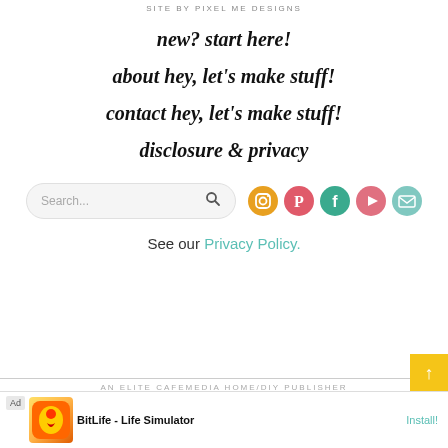SITE BY PIXEL ME DESIGNS
new? start here!
about hey, let’s make stuff!
contact hey, let’s make stuff!
disclosure & privacy
[Figure (other): Search bar with placeholder text 'Search...' and search icon, followed by social media icons: Instagram (yellow/orange), Pinterest (red/pink), Facebook (teal/green), YouTube (pink/red), Email (light teal)]
See our Privacy Policy.
AN ELITE CAFEMEDIA HOME/DIY PUBLISHER
[Figure (other): Advertisement banner: Ad label, BitLife - Life Simulator app ad with Install button]